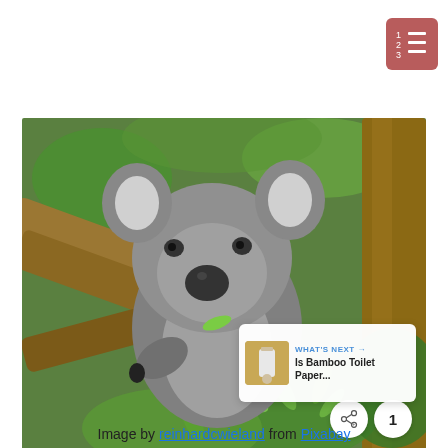[Figure (other): Menu/list icon in reddish-brown rounded square, top right corner]
[Figure (photo): A koala sitting in a eucalyptus tree, eating leaves, with green foliage and tree bark in the background. Social media interaction buttons visible: heart/like button (blue circle), count badge showing '1', and share button (white circle).]
Image by reinhardcwieland from Pixabay